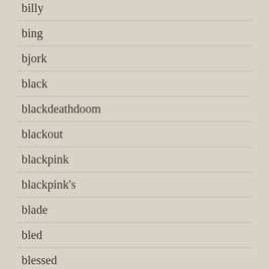billy
bing
bjork
black
blackdeathdoom
blackout
blackpink
blackpink's
blade
bled
blessed
blind
bloodbrothers
bloodhound
bloody
blue